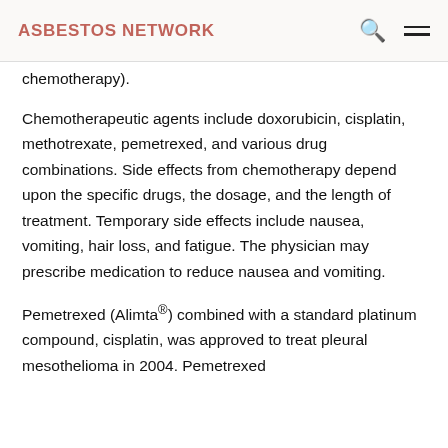ASBESTOS NETWORK
chemotherapy).
Chemotherapeutic agents include doxorubicin, cisplatin, methotrexate, pemetrexed, and various drug combinations. Side effects from chemotherapy depend upon the specific drugs, the dosage, and the length of treatment. Temporary side effects include nausea, vomiting, hair loss, and fatigue. The physician may prescribe medication to reduce nausea and vomiting.
Pemetrexed (Alimta®) combined with a standard platinum compound, cisplatin, was approved to treat pleural mesothelioma in 2004. Pemetrexed